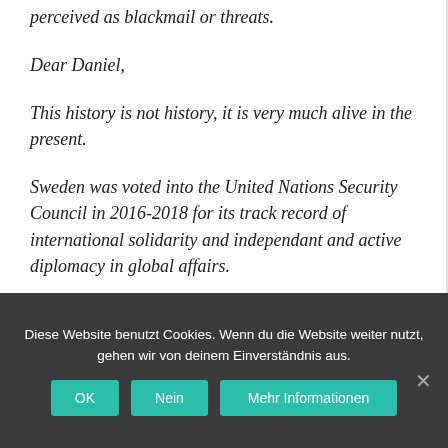perceived as blackmail or threats.
Dear Daniel,
This history is not history, it is very much alive in the present.
Sweden was voted into the United Nations Security Council in 2016-2018 for its track record of international solidarity and independant and active diplomacy in global affairs.
Diese Website benutzt Cookies. Wenn du die Website weiter nutzt, gehen wir von deinem Einverständnis aus.